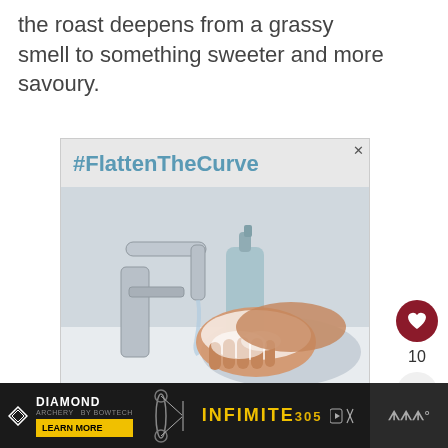the roast deepens from a grassy smell to something sweeter and more savoury.
[Figure (screenshot): Advertisement showing #FlattenTheCurve hashtag above a photo of hands being washed with soap under a faucet at a sink with a soap dispenser in the background. Close button (X) in top right corner.]
[Figure (screenshot): Bottom advertisement banner for Diamond Archery INFINITE 305 with black background, Learn More button, archery bow image, and product name in gold text. Includes ad icons (play, close) and a right panel with sound icon.]